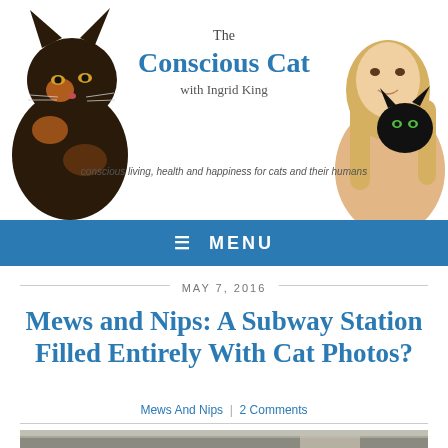[Figure (illustration): The Conscious Cat website header banner with a tortoiseshell cat on the left, the blog logo in the center, and a woman holding a black cat on the right. Tagline reads: conscious living, health and happiness for cats and their humans]
≡ MENU
MAY 7, 2016
Mews and Nips: A Subway Station Filled Entirely With Cat Photos?
Mews And Nips | 2 Comments
[Figure (photo): Bottom portion of a photo showing what appears to be a subway station interior]